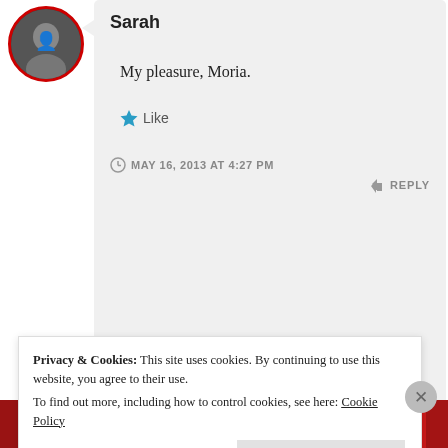[Figure (photo): Circular avatar photo of Sarah, a woman, with a red circular border]
Sarah
My pleasure, Moria.
★ Like
MAY 16, 2013 AT 4:27 PM
↳ REPLY
[Figure (screenshot): Red banner with a black Start reading button]
Privacy & Cookies: This site uses cookies. By continuing to use this website, you agree to their use.
To find out more, including how to control cookies, see here: Cookie Policy
Close and accept